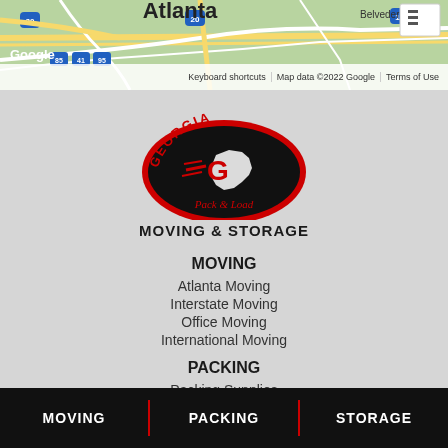[Figure (map): Google Maps screenshot showing Atlanta area with road map. Shows roads, Interstate 20, 85, 41, 95, 154, area labels including Atlanta and Belvedere Park. Google logo bottom left, map footer with keyboard shortcuts, map data copyright 2022 Google, Terms of Use.]
[Figure (logo): Georgia Pack & Load Moving & Storage logo. Red arched text GEORGIA at top over a black oval with a G letter and Georgia state silhouette with red speed lines. Script text Pack & Load below oval. Bold text MOVING & STORAGE below logo.]
MOVING
Atlanta Moving
Interstate Moving
Office Moving
International Moving
PACKING
Packing Supplies
STORAGE
MOVING | PACKING | STORAGE